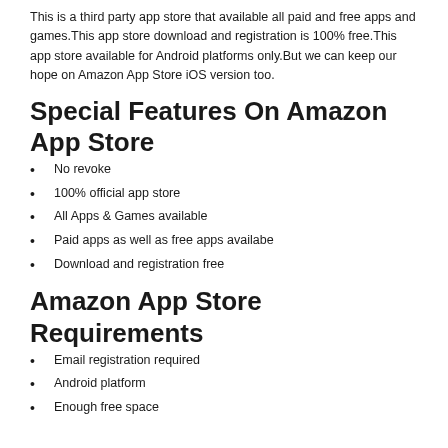This is a third party app store that available all paid and free apps and games.This app store download and registration is 100% free.This app store available for Android platforms only.But we can keep our hope on Amazon App Store iOS version too.
Special Features On Amazon App Store
No revoke
100% official app store
All Apps & Games available
Paid apps as well as free apps availabe
Download and registration free
Amazon App Store Requirements
Email registration required
Android platform
Enough free space